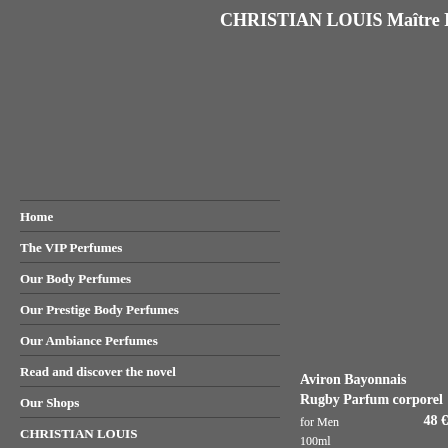CHRISTIAN LOUIS Maître Pa
Home
The VIP Perfumes
Our Body Perfumes
Our Prestige Body Perfumes
Our Ambiance Perfumes
Read and discover the novel
Our Shops
CHRISTIAN LOUIS
Master Perfumer
Your basket
Aviron Bayonnais Rugby Parfum corporel
for Men
100ml
48 €
Spicy,Fresh,
"If you rub it up the wrong way, you'll get bitten" ... Fresh